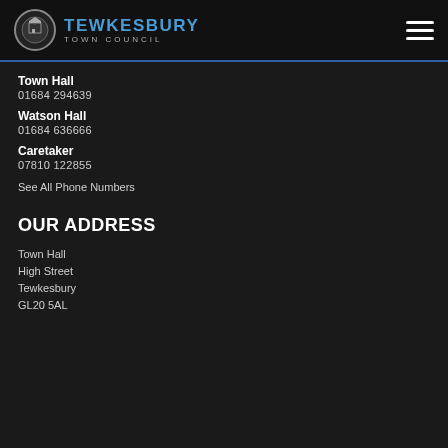TEWKESBURY TOWN COUNCIL
Town Hall
01684 294639
Watson Hall
01684 636666
Caretaker
07810 122855
See All Phone Numbers
OUR ADDRESS
Town Hall
High Street
Tewkesbury
GL20 5AL